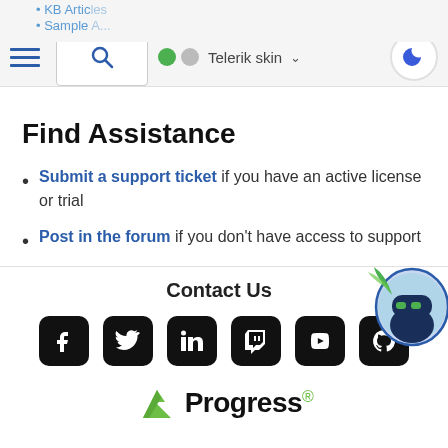[Figure (screenshot): Navigation bar with list icon, search box, toggle switch showing Telerik skin, and dark mode moon button. Partial text 'KB Articles' and 'Sample...' visible at top left.]
Find Assistance
Submit a support ticket if you have an active license or trial
Post in the forum if you don't have access to support
[Figure (illustration): Ninja mascot avatar in a circular frame with blue border, partially cropped on the right side]
Contact Us
[Figure (infographic): Social media icons row: Facebook, Twitter, LinkedIn, Twitch, YouTube, GitHub — all black rounded square icons]
[Figure (logo): Progress logo with green arrow/chevron icon and 'Progress' text with registered trademark dot]